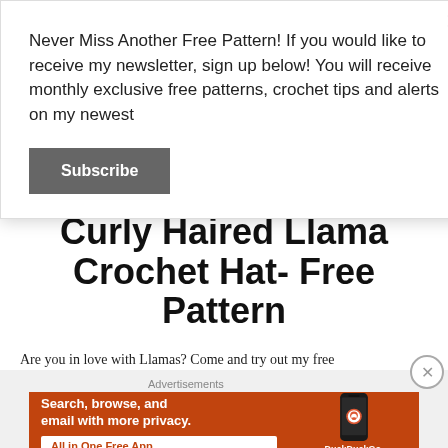Never Miss Another Free Pattern! If you would like to receive my newsletter, sign up below! You will receive monthly exclusive free patterns, crochet tips and alerts on my newest
Subscribe
Curly Haired Llama Crochet Hat- Free Pattern
Are you in love with Llamas? Come and try out my free
Advertisements
[Figure (screenshot): DuckDuckGo advertisement banner: orange background with text 'Search, browse, and email with more privacy. All in One Free App' and a phone graphic with DuckDuckGo logo]